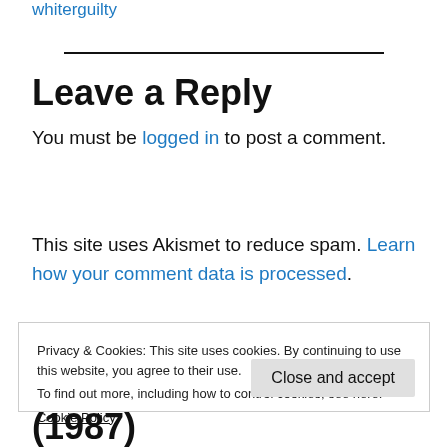whiterguilty
Leave a Reply
You must be logged in to post a comment.
This site uses Akismet to reduce spam. Learn how your comment data is processed.
Privacy & Cookies: This site uses cookies. By continuing to use this website, you agree to their use.
To find out more, including how to control cookies, see here:
Cookie Policy
(1987)